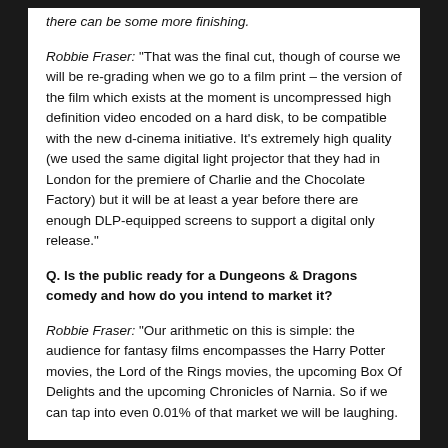there can be some more finishing.
Robbie Fraser: "That was the final cut, though of course we will be re-grading when we go to a film print – the version of the film which exists at the moment is uncompressed high definition video encoded on a hard disk, to be compatible with the new d-cinema initiative. It's extremely high quality (we used the same digital light projector that they had in London for the premiere of Charlie and the Chocolate Factory) but it will be at least a year before there are enough DLP-equipped screens to support a digital only release."
Q. Is the public ready for a Dungeons & Dragons comedy and how do you intend to market it?
Robbie Fraser: "Our arithmetic on this is simple: the audience for fantasy films encompasses the Harry Potter movies, the Lord of the Rings movies, the upcoming Box Of Delights and the upcoming Chronicles of Narnia. So if we can tap into even 0.01% of that market we will be laughing.